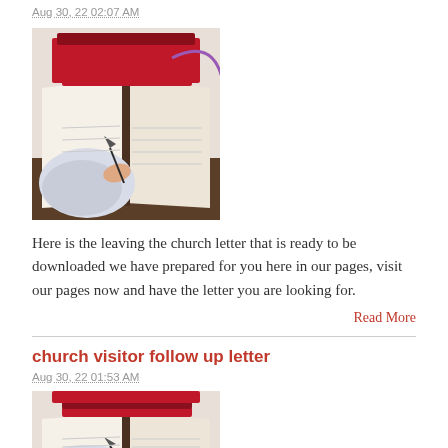Aug 30, 22 02:07 AM
[Figure (illustration): Illustration of a hand holding a quill pen writing in an open book on a wooden desk, with stacked red books in the background.]
Here is the leaving the church letter that is ready to be downloaded we have prepared for you here in our pages, visit our pages now and have the letter you are looking for.
Read More
church visitor follow up letter
Aug 30, 22 01:53 AM
[Figure (illustration): Illustration of a hand holding a quill pen writing in an open book on a wooden desk, with stacked red books in the background (partial view).]